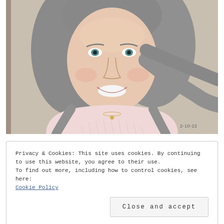[Figure (photo): Close-up portrait photo of a middle-aged woman with shoulder-length gray hair, smiling, wearing a light pink cable-knit sweater and a small gold necklace. Date stamp '2-10-22' visible in lower right. Background is a light neutral/beige color.]
Privacy & Cookies: This site uses cookies. By continuing to use this website, you agree to their use.
To find out more, including how to control cookies, see here:
Cookie Policy
Close and accept